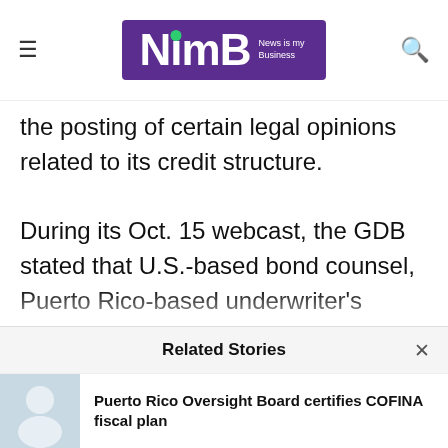[Figure (logo): NimB logo - purple rectangle with white text 'NimB', green dot above the i, and tagline 'News is my Business']
the posting of certain legal opinions related to its credit structure.
During its Oct. 15 webcast, the GDB stated that U.S.-based bond counsel, Puerto Rico-based underwriter's counsel and the Puerto Rico Justice Secretary have provided, for each COFINA transaction, legal opinions that the sales and use tax is not subject to “claw-back” by General Obligation bondholders under the Puerto Rico Constitution. The legal opinions provided for the last COFINA capital
Related Stories
Puerto Rico Oversight Board certifies COFINA fiscal plan